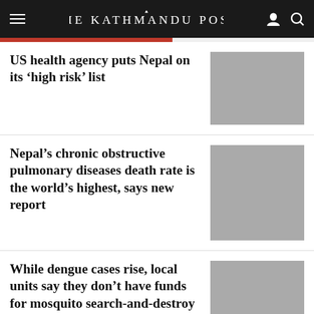THE KATHMANDU POST
US health agency puts Nepal on its ‘high risk’ list
Nepal’s chronic obstructive pulmonary diseases death rate is the world’s highest, says new report
While dengue cases rise, local units say they don’t have funds for mosquito search-and-destroy drives